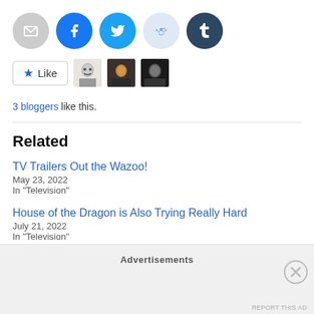[Figure (other): Row of social sharing icon buttons: email (grey circle), Facebook (blue circle), Twitter (light blue circle), Reddit (light blue circle), Tumblr (dark navy circle)]
[Figure (other): Like button with star icon and three blogger avatar thumbnails]
3 bloggers like this.
Related
TV Trailers Out the Wazoo!
May 23, 2022
In "Television"
House of the Dragon is Also Trying Really Hard
July 21, 2022
In "Television"
Advertisements